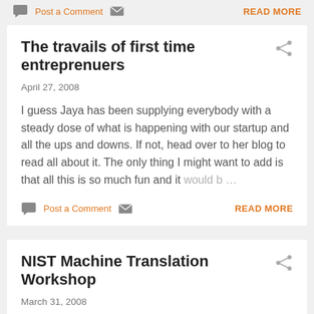Post a Comment  READ MORE
The travails of first time entreprenuers
April 27, 2008
I guess Jaya has been supplying everybody with a steady dose of what is happening with our startup and all the ups and downs. If not, head over to her blog to read all about it. The only thing I might want to add is that all this is so much fun and it would b…
Post a Comment  READ MORE
NIST Machine Translation Workshop
March 31, 2008